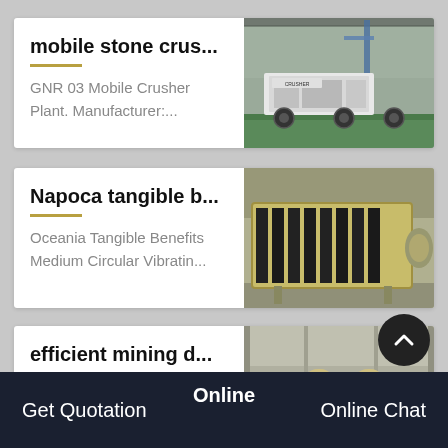mobile stone crus...
GNR 03 Mobile Crusher Plant. Manufacturer:...
[Figure (photo): Mobile stone crusher plant in industrial facility]
Napoca tangible b...
Oceania Tangible Benefits Medium Circular Vibratin...
[Figure (photo): Large industrial vibrating screen machine in warehouse]
efficient mining d...
Mining Dredges. Utilizing...
[Figure (photo): Mining equipment with cone-shaped machines in factory]
Online
Get Quotation
Online Chat